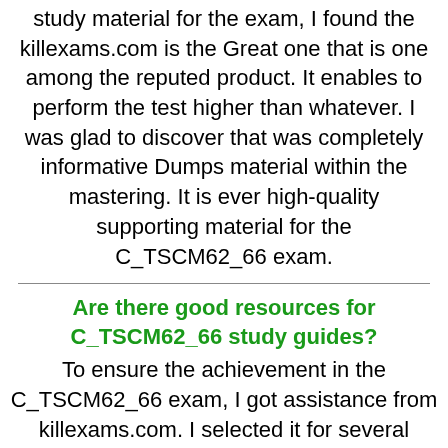study material for the exam, I found the killexams.com is the Great one that is one among the reputed product. It enables to perform the test higher than whatever. I was glad to discover that was completely informative Dumps material within the mastering. It is ever high-quality supporting material for the C_TSCM62_66 exam.
Are there good resources for C_TSCM62_66 study guides?
To ensure the achievement in the C_TSCM62_66 exam, I got assistance from killexams.com. I selected it for several motives: their evaluation of the C_TSCM62_66 test concepts and